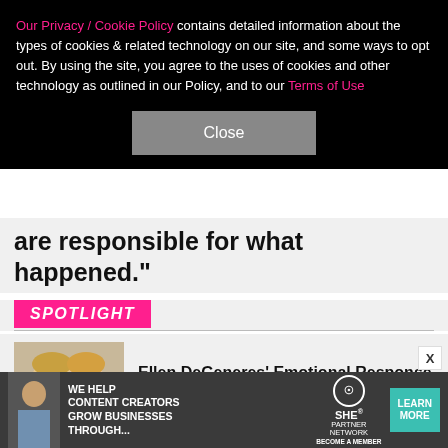Our Privacy / Cookie Policy contains detailed information about the types of cookies & related technology on our site, and some ways to opt out. By using the site, you agree to the uses of cookies and other technology as outlined in our Policy, and to our Terms of Use
Close
are responsible for what happened."
SPOTLIGHT
Ellen DeGeneres' Emotional Response To Ex Anne Heche's Death
[Figure (photo): Photo of Ellen DeGeneres and Anne Heche together]
[Figure (screenshot): SHE partner network advertisement banner — teal background with SHE logo]
[Figure (screenshot): Advertisement: We help content creators grow businesses through... SHE Partner Network. Become a member. Learn More button.]